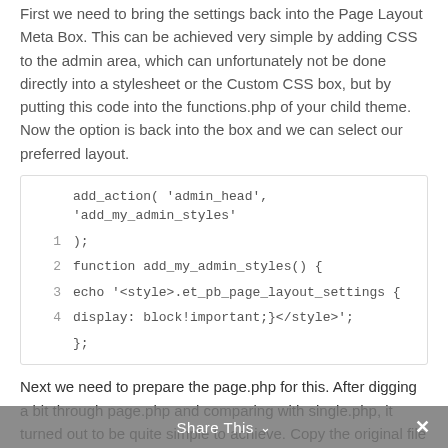First we need to bring the settings back into the Page Layout Meta Box. This can be achieved very simple by adding CSS to the admin area, which can unfortunately not be done directly into a stylesheet or the Custom CSS box, but by putting this code into the functions.php of your child theme. Now the option is back into the box and we can select our preferred layout.
[Figure (other): Code block showing PHP add_action and function to add admin styles with CSS echo]
Next we need to prepare the page.php for this. After digging a bit through page.php and comparing with single.php, it turned out to be quite simple to achieve. Copy the original file from the DIVI folder into your
Share This ∨  ✕